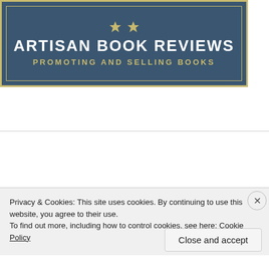[Figure (logo): Artisan Book Reviews logo banner with dark blue background, gold border, star decorations, bold white title text and gold subtitle text]
[Figure (illustration): Dark green banner with inner border frames and a pink book illustration partially visible, with a red bar at the bottom edge]
Privacy & Cookies: This site uses cookies. By continuing to use this website, you agree to their use.
To find out more, including how to control cookies, see here: Cookie Policy
Close and accept